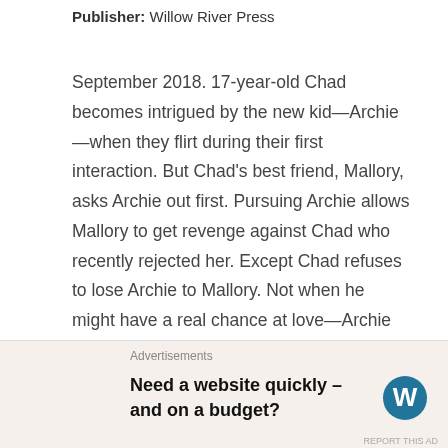Publisher: Willow River Press
September 2018. 17-year-old Chad becomes intrigued by the new kid—Archie—when they flirt during their first interaction. But Chad's best friend, Mallory, asks Archie out first. Pursuing Archie allows Mallory to get revenge against Chad who recently rejected her. Except Chad refuses to lose Archie to Mallory. Not when he might have a real chance at love—Archie identifies as bisexual like Chad. Although if Chad wants Archie, then he must eliminate Mallory as the competition. Even if doing so means proving she was involved in the disappearance of her ex-boyfriend, Tommy.
Advertisements
Need a website quickly – and on a budget?